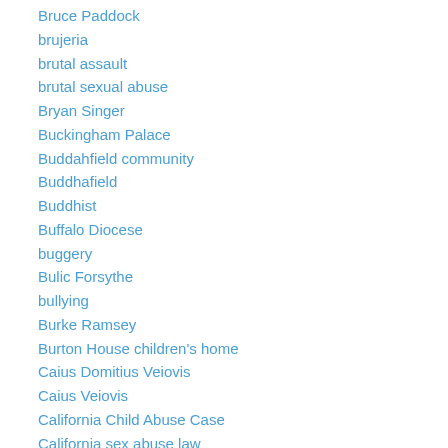Bruce Paddock
brujeria
brutal assault
brutal sexual abuse
Bryan Singer
Buckingham Palace
Buddahfield community
Buddhafield
Buddhist
Buffalo Diocese
buggery
Bulic Forsythe
bullying
Burke Ramsey
Burton House children's home
Caius Domitius Veiovis
Caius Veiovis
California Child Abuse Case
California sex abuse law
Camille Cosby